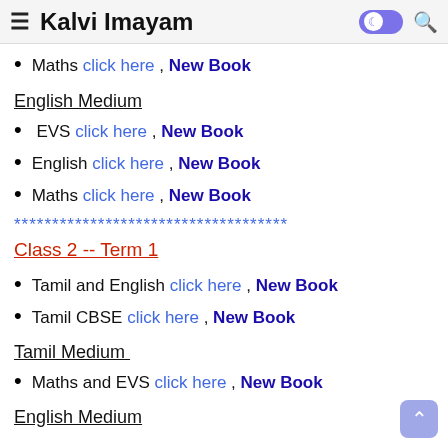≡ Kalvi Imayam
Maths click here , New Book
English Medium
EVS click here , New Book
English click here , New Book
Maths click here , New Book
************************************
Class 2 -- Term 1
Tamil and English click here , New Book
Tamil CBSE click here , New Book
Tamil Medium
Maths and EVS click here , New Book
English Medium
Maths and EVS click here , New Book